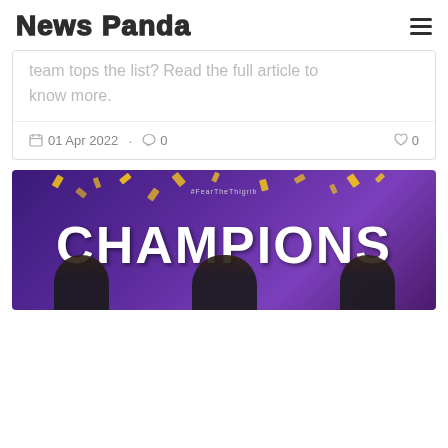News Panda
team tops the list? Read the full article to know more.
01 Apr 2022 • 0 0
[Figure (photo): Champions banner image with purple background, large white 'CHAMPIONS' text, hashtag #FearTheThigrib, gold confetti, and three people visible at the bottom.]